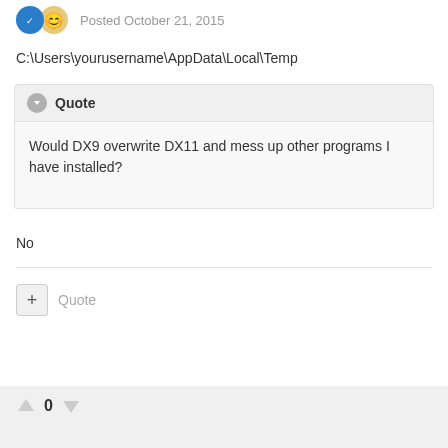Posted October 21, 2015
C:\Users\yourusername\AppData\Local\Temp
Would DX9 overwrite DX11 and mess up other programs I have installed?
No
Quote
0